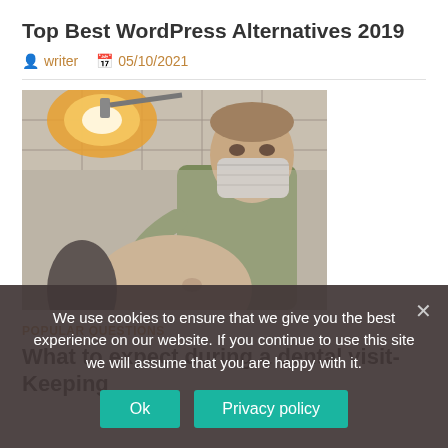Top Best WordPress Alternatives 2019
writer  05/10/2021
[Figure (photo): A masked dentist leaning over a patient in a dental chair, viewed from patient's perspective, under bright dental lamp. Room has drop ceiling tiles.]
POPULAR QUESTIONS
What to expect during a dental visit- Keeping
We use cookies to ensure that we give you the best experience on our website. If you continue to use this site we will assume that you are happy with it.